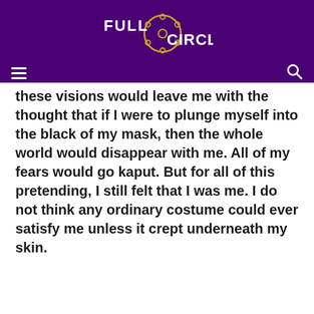[Figure (logo): Full Circle logo with film reel icon in gold/yellow on dark purple background, white bold text reading FULL CIRCLE]
Full Circle — navigation bar with hamburger menu and search icon
these visions would leave me with the thought that if I were to plunge myself into the black of my mask, then the whole world would disappear with me. All of my fears would go kaput. But for all of this pretending, I still felt that I was me. I do not think any ordinary costume could ever satisfy me unless it crept underneath my skin.